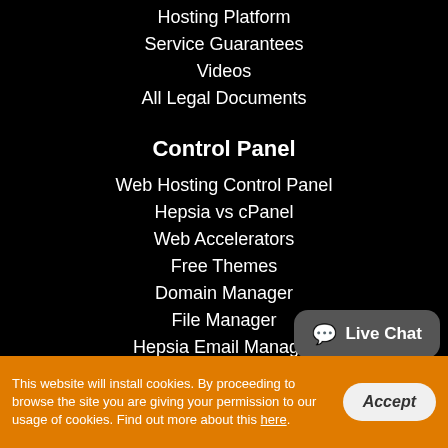Hosting Platform
Service Guarantees
Videos
All Legal Documents
Control Panel
Web Hosting Control Panel
Hepsia vs cPanel
Web Accelerators
Free Themes
Domain Manager
File Manager
Hepsia Email Manager
Stats Manager
Databases Manager
Free Of Charge Website Creator
This website will install cookies. By proceeding to browse the site you are giving your permission to our usage of cookies. Find out more about this here.